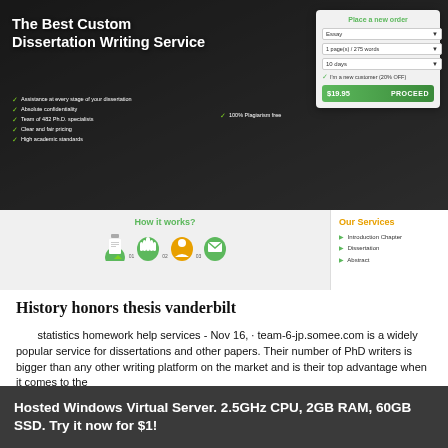[Figure (screenshot): Screenshot of a custom dissertation writing service website showing hero banner with title 'The Best Custom Dissertation Writing Service', an order form with 'Place a new order' heading, dropdowns for Essay/1 page/10 days, $19.95 PROCEED button, and a lower section showing 'How it works?' icons and 'Our Services' with Introduction Chapter and Dissertation listed.]
History honors thesis vanderbilt
statistics homework help services - Nov 16,  · team-6-jp.somee.com is a widely popular service for dissertations and other papers. Their number of PhD writers is bigger than any other writing platform on the market and is their top advantage when it comes to achieving the highest academic levels.9/ team-6-jp.somee.com has a lot of options. For different academic
Hosted Windows Virtual Server. 2.5GHz CPU, 2GB RAM, 60GB SSD. Try it now for $1!